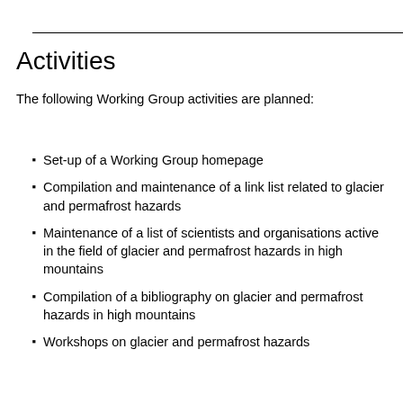Activities
The following Working Group activities are planned:
Set-up of a Working Group homepage
Compilation and maintenance of a link list related to glacier and permafrost hazards
Maintenance of a list of scientists and organisations active in the field of glacier and permafrost hazards in high mountains
Compilation of a bibliography on glacier and permafrost hazards in high mountains
Workshops on glacier and permafrost hazards